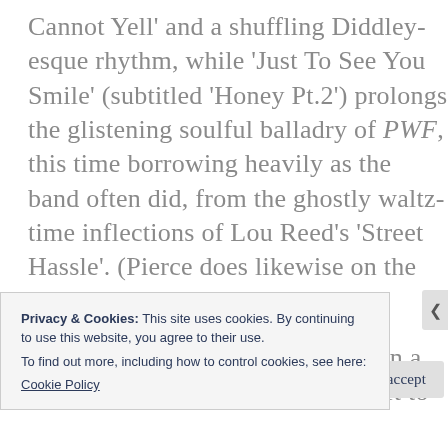Cannot Yell' and a shuffling Diddley-esque rhythm, while 'Just To See You Smile' (subtitled 'Honey Pt.2') prolongs the glistening soulful balladry of PWF, this time borrowing heavily as the band often did, from the ghostly waltz-time inflections of Lou Reed's 'Street Hassle'. (Pierce does likewise on the blissfully gorgeous 'Sometimes')
There is little poetic or profound in a Spacemen 3 lyric; rather one is left to
Privacy & Cookies: This site uses cookies. By continuing to use this website, you agree to their use.
To find out more, including how to control cookies, see here:
Cookie Policy